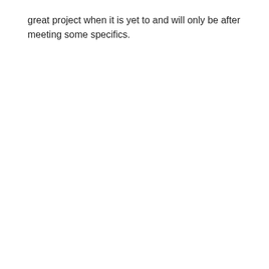great project when it is yet to and will only be after meeting some specifics.